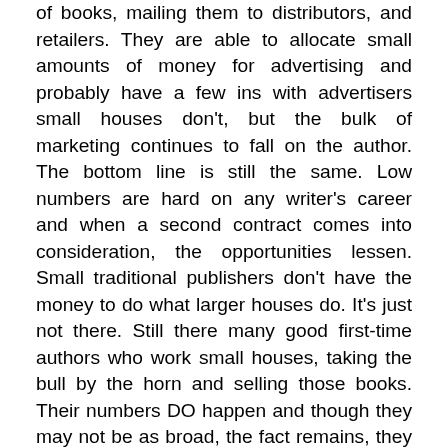of books, mailing them to distributors, and retailers. They are able to allocate small amounts of money for advertising and probably have a few ins with advertisers small houses don't, but the bulk of marketing continues to fall on the author. The bottom line is still the same. Low numbers are hard on any writer's career and when a second contract comes into consideration, the opportunities lessen. Small traditional publishers don't have the money to do what larger houses do. It's just not there. Still there many good first-time authors who work small houses, taking the bull by the horn and selling those books. Their numbers DO happen and though they may not be as broad, the fact remains, they are selling their books. That's successful. Isn't the goal of the author and the publisher: publication and sales – whether it's a large house or small? I understand the thoughts of numbers and sales, but I also believe authors who are good, are often overlooked when all they need is a tiny bit of tweaking to be amazing.